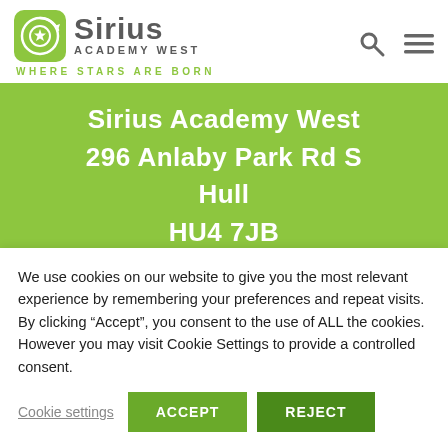[Figure (logo): Sirius Academy West logo — green circular icon with star and arrow, with text 'Sirius' and 'ACADEMY WEST' and tagline 'WHERE STARS ARE BORN']
Sirius Academy West
296 Anlaby Park Rd S
Hull
HU4 7JB
[Figure (screenshot): Partial map strip showing grey background]
We use cookies on our website to give you the most relevant experience by remembering your preferences and repeat visits. By clicking “Accept”, you consent to the use of ALL the cookies. However you may visit Cookie Settings to provide a controlled consent.
Cookie settings   ACCEPT   REJECT